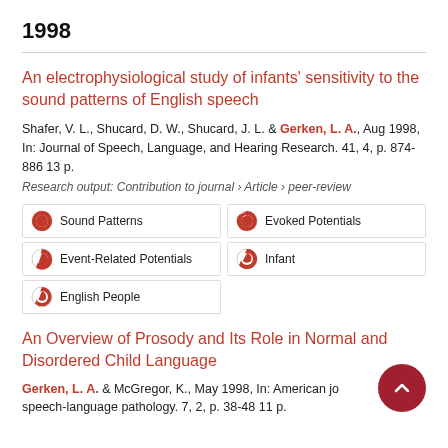1998
An electrophysiological study of infants' sensitivity to the sound patterns of English speech
Shafer, V. L., Shucard, D. W., Shucard, J. L. & Gerken, L. A., Aug 1998, In: Journal of Speech, Language, and Hearing Research. 41, 4, p. 874-886 13 p.
Research output: Contribution to journal › Article › peer-review
Sound Patterns
Evoked Potentials
Event-Related Potentials
Infant
English People
An Overview of Prosody and Its Role in Normal and Disordered Child Language
Gerken, L. A. & McGregor, K., May 1998, In: American journal of speech-language pathology. 7, 2, p. 38-48 11 p.